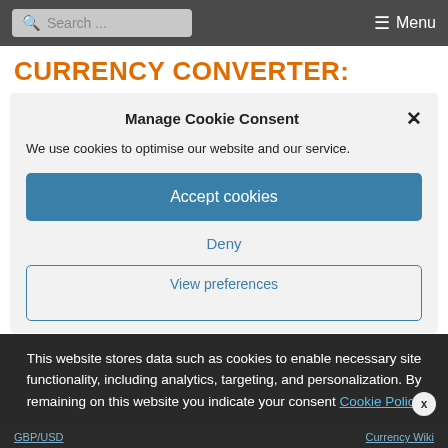Search ... Menu
CURRENCY CONVERTER:
Manage Cookie Consent
We use cookies to optimise our website and our service.
Accept cookies
Deny
View preferences
This website stores data such as cookies to enable necessary site functionality, including analytics, targeting, and personalization. By remaining on this website you indicate your consent Cookie Policy
GBP/USD
Currency Wiki